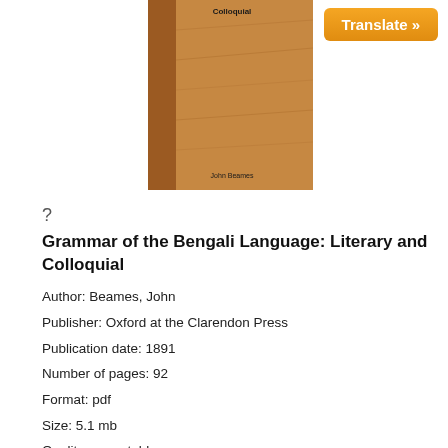[Figure (illustration): Book cover of 'Grammar of the Bengali Language: Literary and Colloquial' by John Beames. Brown textured cover with a darker brown spine, title at top 'Colloquial' visible, author name 'John Beames' at bottom.]
?
Grammar of the Bengali Language: Literary and Colloquial
Author: Beames, John
Publisher: Oxford at the Clarendon Press
Publication date: 1891
Number of pages: 92
Format: pdf
Size: 5.1 mb
Quality: acceptable
Target language: Bengali